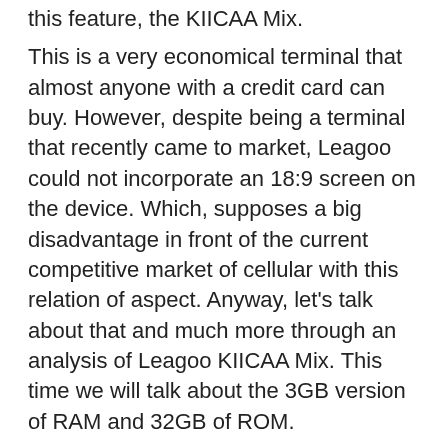this feature, the KIICAA Mix.
This is a very economical terminal that almost anyone with a credit card can buy. However, despite being a terminal that recently came to market, Leagoo could not incorporate an 18:9 screen on the device. Which, supposes a big disadvantage in front of the current competitive market of cellular with this relation of aspect. Anyway, let’s talk about that and much more through an analysis of Leagoo KIICAA Mix. This time we will talk about the 3GB version of RAM and 32GB of ROM.
Table of Contents
Design and materials